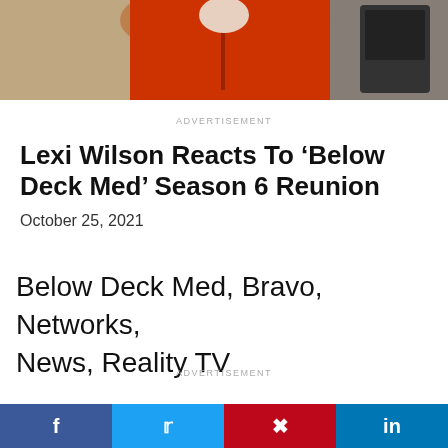[Figure (photo): Person wearing a red jacket, partial view from chest up, in an indoor setting]
ADVERTISEMENT
Lexi Wilson Reacts To ‘Below Deck Med’ Season 6 Reunion
October 25, 2021
Below Deck Med, Bravo, Networks, News, Reality TV
ADVERTISEMENT